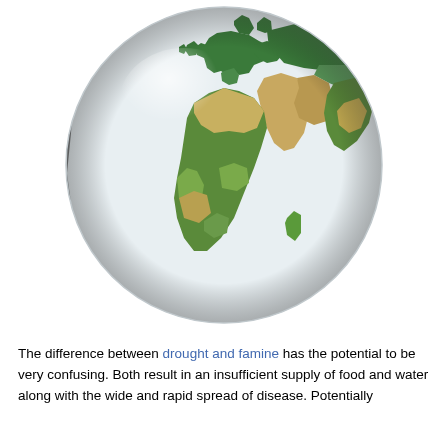[Figure (illustration): A 3D rendered globe showing Africa, Europe, the Middle East, and Asia. The landmasses are shown in greens, browns, and tans against a white ocean/background. The globe has a reflective, spherical appearance.]
The difference between drought and famine has the potential to be very confusing. Both result in an insufficient supply of food and water along with the wide and rapid spread of disease. Potentially